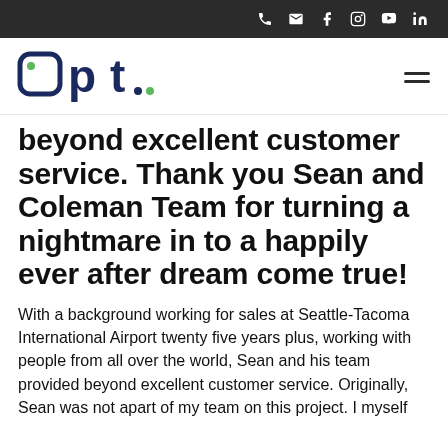Navigation bar with phone, email, Facebook, Instagram, YouTube, LinkedIn icons
[Figure (logo): Opt. company logo in dark navy blue with green dot accent]
beyond excellent customer service. Thank you Sean and Coleman Team for turning a nightmare in to a happily ever after dream come true!
With a background working for sales at Seattle-Tacoma International Airport twenty five years plus, working with people from all over the world, Sean and his team provided beyond excellent customer service. Originally, Sean was not apart of my team on this project. I myself